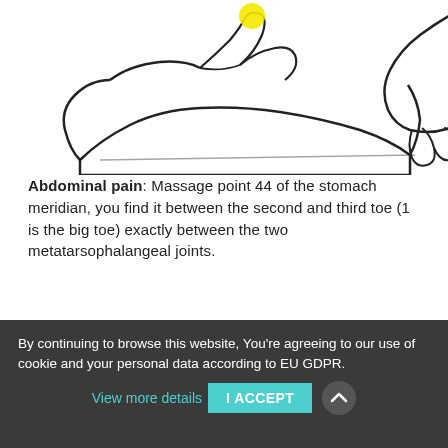[Figure (illustration): Hand illustration showing fingers with a yellow dot marker on one finger, viewed from the side, with another hand visible at upper right.]
Abdominal pain: Massage point 44 of the stomach meridian, you find it between the second and third toe (1 is the big toe) exactly between the two metatarsophalangeal joints.
[Figure (illustration): Two toe/foot outlines shown from above, representing the second and third toes, with wavy dark lines indicating the metatarsal region.]
By continuing to browse this website, You're agreeing to our use of cookie and your personal data according to EU GDPR. View more details  I ACCEPT